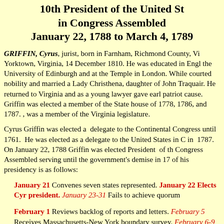10th President of the United States in Congress Assembled January 22, 1788 to March 4, 1789
GRIFFIN, Cyrus, jurist, born in Farnham, Richmond County, Vi... Yorktown, Virginia, 14 December 1810. He was educated in Engl... the University of Edinburgh and at the Temple in London. While... courted nobility and married a Lady Christhena, daughter of John... Traquair. He returned to Virginia and as a young lawyer gave earl... patriot cause. Griffin was elected a member of the State house of... 1778, 1786, and 1787. , was a member of the Virginia legislature.
Cyrus Griffin was elected a delegate to the Continental Congress... until 1761. He was elected as a delegate to the United States in C... in 1787. On January 22, 1788 Griffin was elected President of th... Congress Assembled serving until the government's demise in 17... of his presidency is as follows:
January 21 Convenes seven states represented. January 22 Elects Cyrus president. January 23-31 Fails to achieve quorum
February 1 Reviews backlog of reports and letters. February 5 Receives Massachusetts-New York boundary survey. February 6-9 Fails to achieve... February 12 Authorizes secretary for foreign affairs to issue sea letters. ... date for reception of new French minister, comte de Moustier. February... Cleves Symmes judge of the Northwest territory. February 25 Debates...